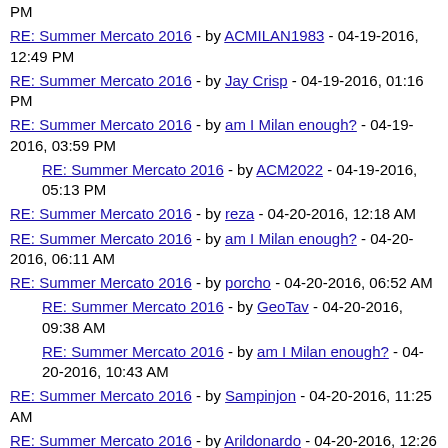PM
RE: Summer Mercato 2016 - by ACMILAN1983 - 04-19-2016, 12:49 PM
RE: Summer Mercato 2016 - by Jay Crisp - 04-19-2016, 01:16 PM
RE: Summer Mercato 2016 - by am I Milan enough? - 04-19-2016, 03:59 PM
RE: Summer Mercato 2016 - by ACM2022 - 04-19-2016, 05:13 PM
RE: Summer Mercato 2016 - by reza - 04-20-2016, 12:18 AM
RE: Summer Mercato 2016 - by am I Milan enough? - 04-20-2016, 06:11 AM
RE: Summer Mercato 2016 - by porcho - 04-20-2016, 06:52 AM
RE: Summer Mercato 2016 - by GeoTav - 04-20-2016, 09:38 AM
RE: Summer Mercato 2016 - by am I Milan enough? - 04-20-2016, 10:43 AM
RE: Summer Mercato 2016 - by Sampinjon - 04-20-2016, 11:25 AM
RE: Summer Mercato 2016 - by Arildonardo - 04-20-2016, 12:26 PM
RE: Summer Mercato 2016 - by Mathias - 04-20-2016, 01:39 PM
RE: Summer Mercato 2016 - by nefremo - 04-20-2016, 02:18